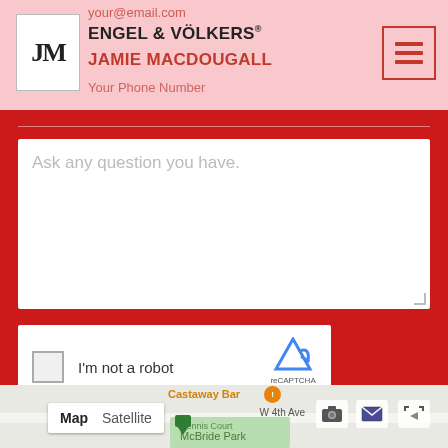your@email.com | ENGEL & VÖLKERS | JAMIE MACDOUGALL | Your Phone Number
[Figure (screenshot): Contact form on Engel & Völkers Jamie MacDougall website with textarea, reCAPTCHA widget, and SEND MESSAGE button on red background]
[Figure (map): Google Maps embed showing Castaway Bar area with Map/Satellite toggle controls and map icons]